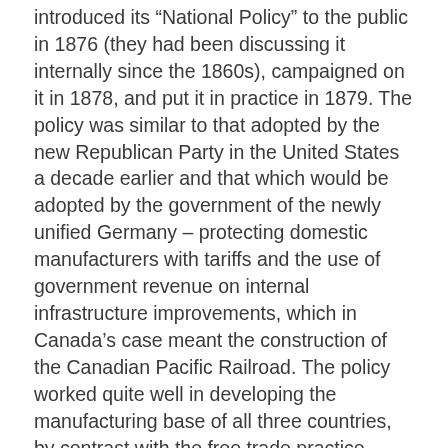introduced its “National Policy” to the public in 1876 (they had been discussing it internally since the 1860s), campaigned on it in 1878, and put it in practice in 1879. The policy was similar to that adopted by the new Republican Party in the United States a decade earlier and that which would be adopted by the government of the newly unified Germany – protecting domestic manufacturers with tariffs and the use of government revenue on internal infrastructure improvements, which in Canada’s case meant the construction of the Canadian Pacific Railroad. The policy worked quite well in developing the manufacturing base of all three countries, by contrast with the free trade practice introduced in England, the birthplace of industrialism, at the behest of the Manchester manufacturers. While it was agricultural tariffs (the Corn Laws) the latter sought to repeal, the practice of free trade in this same period that America and Germany were practicing